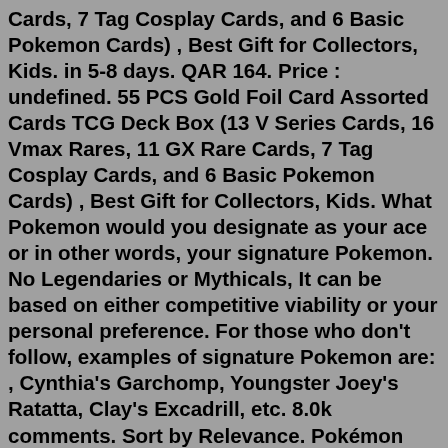Cards, 7 Tag Cosplay Cards, and 6 Basic Pokemon Cards) , Best Gift for Collectors, Kids. in 5-8 days. QAR 164. Price : undefined. 55 PCS Gold Foil Card Assorted Cards TCG Deck Box (13 V Series Cards, 16 Vmax Rares, 11 GX Rare Cards, 7 Tag Cosplay Cards, and 6 Basic Pokemon Cards) , Best Gift for Collectors, Kids. What Pokemon would you designate as your ace or in other words, your signature Pokemon. No Legendaries or Mythicals, It can be based on either competitive viability or your personal preference. For those who don't follow, examples of signature Pokemon are: , Cynthia's Garchomp, Youngster Joey's Ratatta, Clay's Excadrill, etc. 8.0k comments. Sort by Relevance. Pokémon Trading Card Game: Battle Academy Series 2. Pokemon. 249. $19.99. Free standard shipping with $35 orders. Not in stores. Add to cart. Pokémon Trading Card Game: Sword & Shield Fusion Strike Elite Trainer Box. Mar 28, 2022 · Taking your old cards out of the closet and researching to find their current value is the most common way people are getting back into Pokémon...